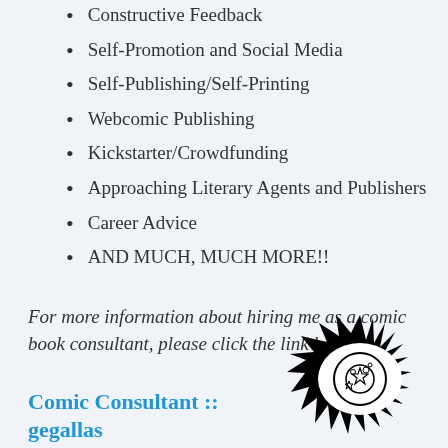Constructive Feedback
Self-Promotion and Social Media
Self-Publishing/Self-Printing
Webcomic Publishing
Kickstarter/Crowdfunding
Approaching Literary Agents and Publishers
Career Advice
AND MUCH, MUCH MORE!!
For more information about hiring me as a comic book consultant, please click the link below!
Comic Consultant :: gegallas
Are you an aspiring comic book creator? Are you struggling with
[Figure (illustration): Black and white illustration of a stylized eye with spiky rays/lashes around it, containing stars and decorative elements inside the iris]